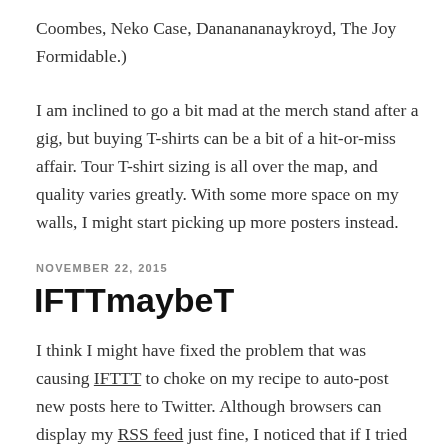Coombes, Neko Case, Dananananaykroyd, The Joy Formidable.)
I am inclined to go a bit mad at the merch stand after a gig, but buying T-shirts can be a bit of a hit-or-miss affair. Tour T-shirt sizing is all over the map, and quality varies greatly. With some more space on my walls, I might start picking up more posters instead.
NOVEMBER 22, 2015
IFTTmaybeT
I think I might have fixed the problem that was causing IFTTT to choke on my recipe to auto-post new posts here to Twitter. Although browsers can display my RSS feed just fine, I noticed that if I tried to retrieve the feed using curl from my server (Ubuntu 14.04), it would